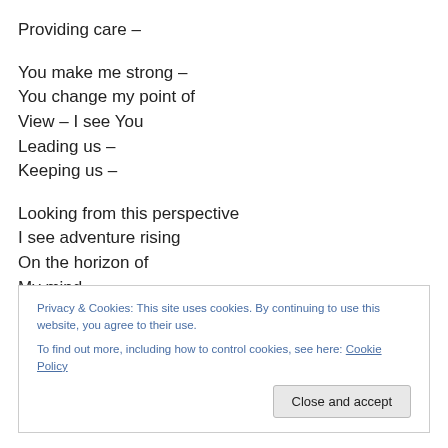Providing care –
You make me strong –
You change my point of
View – I see You
Leading us –
Keeping us –
Looking from this perspective
I see adventure rising
On the horizon of
My mind
Privacy & Cookies: This site uses cookies. By continuing to use this website, you agree to their use. To find out more, including how to control cookies, see here: Cookie Policy
Close and accept